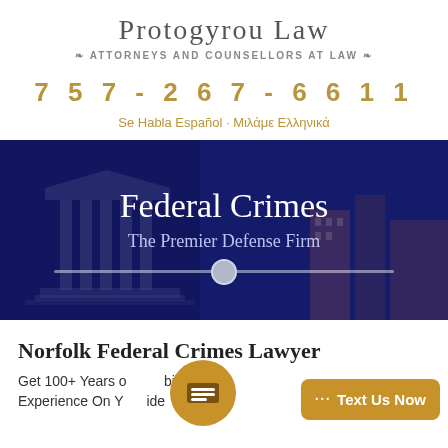Protogyrou Law
ATTORNEYS AND COUNSELLORS AT LAW
757-267-6611
Se Habla Español · Μιλάμε Ελληνικά
[Figure (photo): Hero banner with courthouse building in background, dark blue overlay, showing text 'Federal Crimes - The Premier Defense Firm' with a slider bar element]
Norfolk Federal Crimes Lawyer
Get 100+ Years of Combined Experience On Your Side